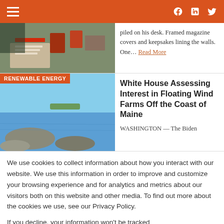Navigation bar with hamburger menu and social icons (Facebook, LinkedIn, Twitter)
[Figure (photo): Desk with papers and magazines piled on it, framed magazine covers and keepsakes on walls]
piled on his desk. Framed magazine covers and keepsakes lining the walls. One... Read More
[Figure (photo): Rocky coastline with blue water and sky, Maine coast scene]
RENEWABLE ENERGY
White House Assessing Interest in Floating Wind Farms Off the Coast of Maine
WASHINGTON — The Biden
We use cookies to collect information about how you interact with our website. We use this information in order to improve and customize your browsing experience and for analytics and metrics about our visitors both on this website and other media. To find out more about the cookies we use, see our Privacy Policy.

If you decline, your information won't be tracked
[Figure (logo): TWN speech bubble logo in orange]
More in home
[Figure (photo): Person portrait photo (partial, cropped)]
Garland Bars Political Appoint...